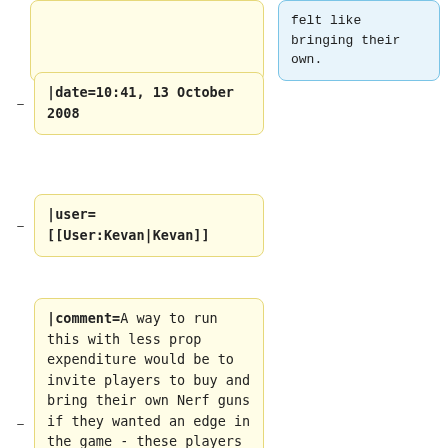felt like bringing their own.
|date=10:41, 13 October 2008
|user= [[User:Kevan|Kevan]]
|comment=A way to run this with less prop expenditure would be to invite players to buy and bring their own Nerf guns if they wanted an edge in the game - these players could be the police or military, or the hardcore survivalists who were prepared for the zombie apocalypse. You could probably get